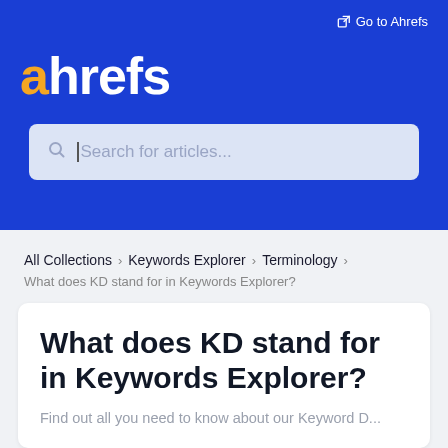[Figure (logo): Ahrefs logo in white text with orange 'a' on blue background, with 'Go to Ahrefs' link and search bar]
All Collections > Keywords Explorer > Terminology
What does KD stand for in Keywords Explorer?
What does KD stand for in Keywords Explorer?
Find out all you need to know about our Keyword D...